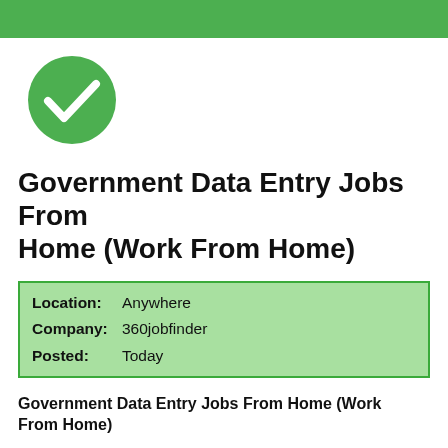[Figure (other): Green horizontal banner bar at top of page]
[Figure (illustration): Green circle with white checkmark icon]
Government Data Entry Jobs From Home (Work From Home)
| Location: | Anywhere |
| Company: | 360jobfinder |
| Posted: | Today |
Government Data Entry Jobs From Home (Work From Home)
This is your opportunity to begin a lifelong career with unlimited opportunity. Find the liberty you've been trying